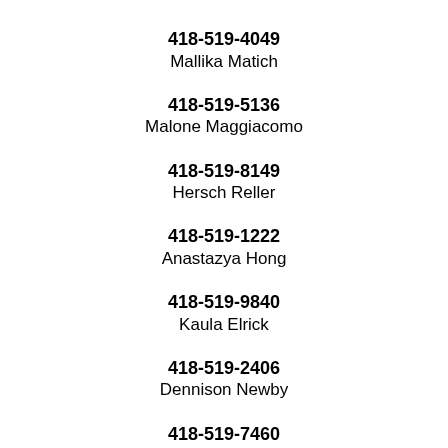418-519-4049
Mallika Matich
418-519-5136
Malone Maggiacomo
418-519-8149
Hersch Reller
418-519-1222
Anastazya Hong
418-519-9840
Kaula Elrick
418-519-2406
Dennison Newby
418-519-7460
Davee Lietzau
418-519-3300
Laran Curet
418-519-1483